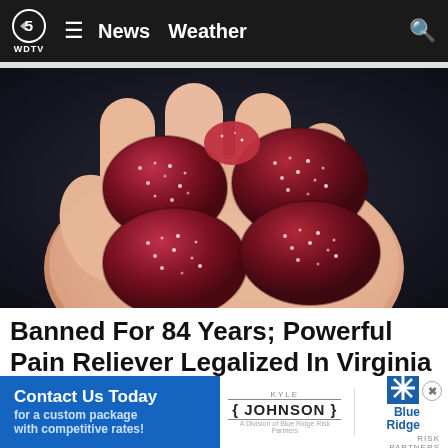WDTV 5 News Weather
[Figure (photo): A hand holding several dark red sugared gummy candies against a dark background]
Banned For 84 Years; Powerful Pain Reliever Legalized In Virginia
Health Headlines | Sponsored
[Figure (infographic): Blue advertisement banner: 'Contact Us Today for a custom package with competitive rates!' with Kyle Johnson and Blue Ridge Risk Partners logos]